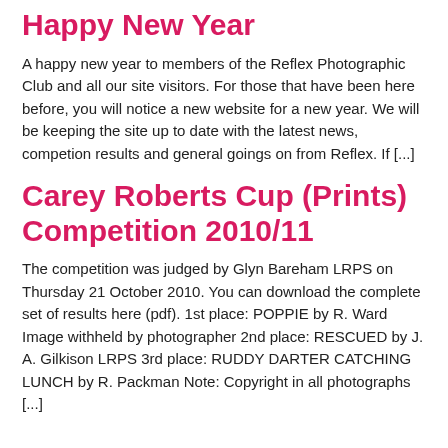Happy New Year
A happy new year to members of the Reflex Photographic Club and all our site visitors. For those that have been here before, you will notice a new website for a new year. We will be keeping the site up to date with the latest news, competion results and general goings on from Reflex. If [...]
Carey Roberts Cup (Prints) Competition 2010/11
The competition was judged by Glyn Bareham LRPS on Thursday 21 October 2010. You can download the complete set of results here (pdf). 1st place: POPPIE by R. Ward Image withheld by photographer 2nd place: RESCUED by J. A. Gilkison LRPS 3rd place: RUDDY DARTER CATCHING LUNCH by R. Packman Note: Copyright in all photographs [...]